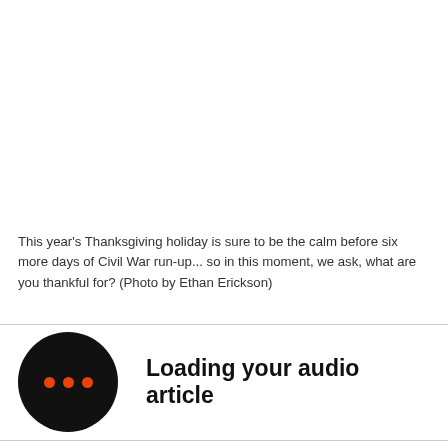This year's Thanksgiving holiday is sure to be the calm before six more days of Civil War run-up... so in this moment, we ask, what are you thankful for? (Photo by Ethan Erickson)
[Figure (other): Black circle icon with three orange dots indicating audio loading animation, next to text 'Loading your audio article']
Loading your audio article